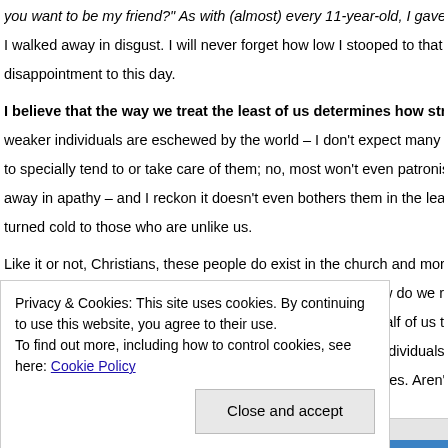you want to be my friend?" As with (almost) every 11-year-old, I gave h I walked away in disgust. I will never forget how low I stooped to that d disappointment to this day.
I believe that the way we treat the least of us determines how stro weaker individuals are eschewed by the world – I don't expect many p to specially tend to or take care of them; no, most won't even patronise away in apathy – and I reckon it doesn't even bothers them in the leas turned cold to those who are unlike us.
Like it or not, Christians, these people do exist in the church and more just be sitting in the midst of us. How do we treat them? How do we re extend love and grace to them? Sadly enough, more than half of us tre manner as the world treats them. No, unfortunately, these individuals a of refuge in church. Yes, we ought to be ashamed of ourselves. Aren't
Privacy & Cookies: This site uses cookies. By continuing to use this website, you agree to their use.
To find out more, including how to control cookies, see here: Cookie Policy
Close and accept
Advertisements